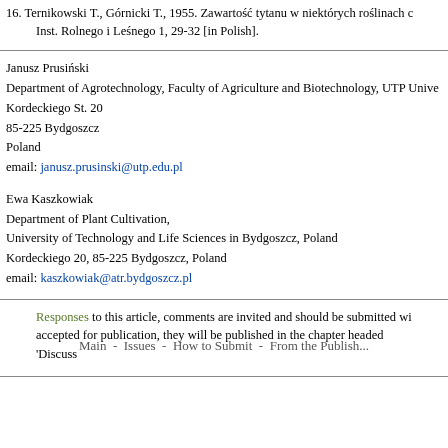16. Ternikowski T., Górnicki T., 1955. Zawartość tytanu w niektórych roślinach c... Inst. Rolnego i Leśnego 1, 29-32 [in Polish].
Janusz Prusiński
Department of Agrotechnology, Faculty of Agriculture and Biotechnology, UTP Unive...
Kordeckiego St. 20
85-225 Bydgoszcz
Poland
email: janusz.prusinski@utp.edu.pl
Ewa Kaszkowiak
Department of Plant Cultivation,
University of Technology and Life Sciences in Bydgoszcz, Poland
Kordeckiego 20, 85-225 Bydgoszcz, Poland
email: kaszkowiak@atr.bydgoszcz.pl
Responses to this article, comments are invited and should be submitted wi... accepted for publication, they will be published in the chapter headed 'Discuss...
Main - Issues - How to Submit - From the Publish...